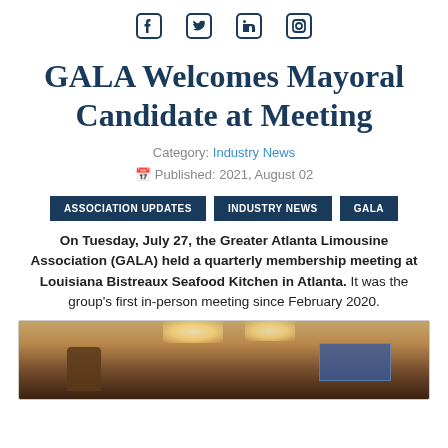[Figure (other): Social media icons: Facebook, Twitter, LinkedIn, Instagram]
GALA Welcomes Mayoral Candidate at Meeting
Category: Industry News
Published: 2021, August 02
ASSOCIATION UPDATES
INDUSTRY NEWS
GALA
On Tuesday, July 27, the Greater Atlanta Limousine Association (GALA) held a quarterly membership meeting at Louisiana Bistreaux Seafood Kitchen in Atlanta. It was the group's first in-person meeting since February 2020.
[Figure (photo): Photo of people at a meeting room, with lights overhead and a blue screen visible in the background.]